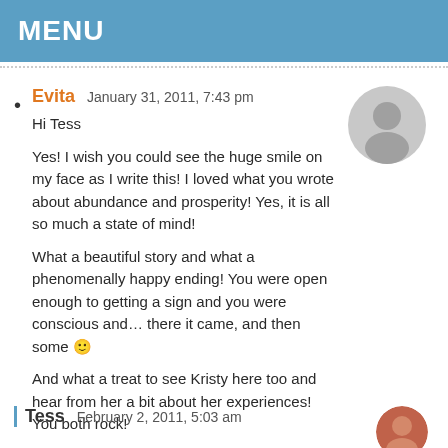MENU
Evita  January 31, 2011, 7:43 pm

Hi Tess

Yes! I wish you could see the huge smile on my face as I write this! I loved what you wrote about abundance and prosperity! Yes, it is all so much a state of mind!

What a beautiful story and what a phenomenally happy ending! You were open enough to getting a sign and you were conscious and… there it came, and then some 🙂

And what a treat to see Kristy here too and hear from her a bit about her experiences! You both rock!
Tess  February 2, 2011, 5:03 am